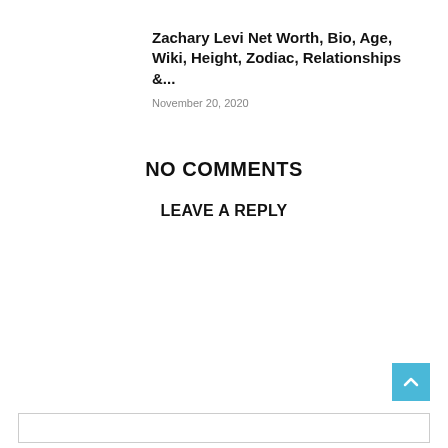Zachary Levi Net Worth, Bio, Age, Wiki, Height, Zodiac, Relationships &...
November 20, 2020
NO COMMENTS
LEAVE A REPLY